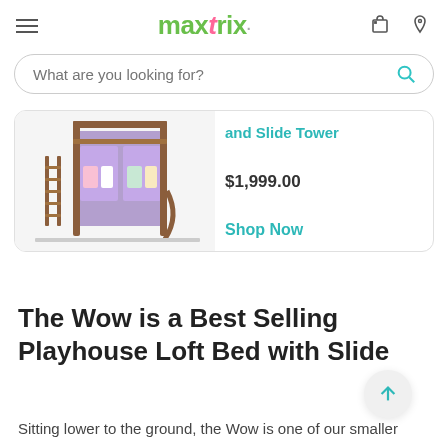maxtrix
What are you looking for?
[Figure (photo): Partial product card showing a children's loft bed with slide and purple tent, wooden frame]
and Slide Tower
$1,999.00
Shop Now
The Wow is a Best Selling Playhouse Loft Bed with Slide
Sitting lower to the ground, the Wow is one of our smaller